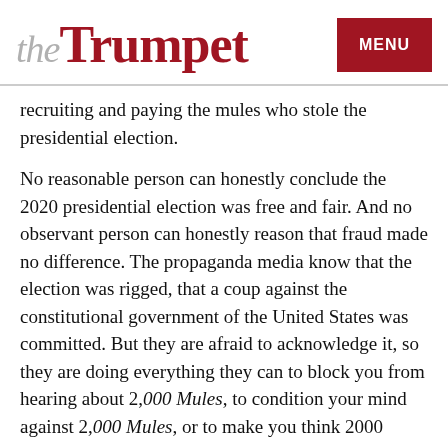theTrumpet | MENU
recruiting and paying the mules who stole the presidential election.
No reasonable person can honestly conclude the 2020 presidential election was free and fair. And no observant person can honestly reason that fraud made no difference. The propaganda media know that the election was rigged, that a coup against the constitutional government of the United States was committed. But they are afraid to acknowledge it, so they are doing everything they can to block you from hearing about 2,000 Mules, to condition your mind against 2,000 Mules, or to make you think 2000 Mules is just too